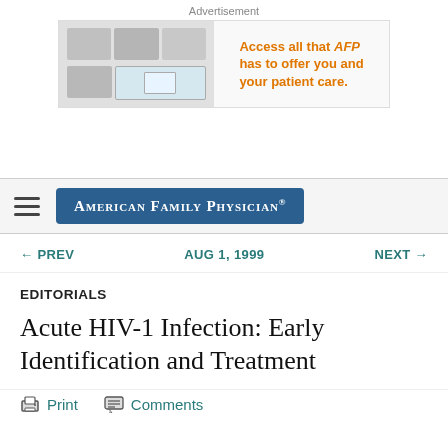Advertisement
[Figure (illustration): Advertisement banner for American Family Physician journal access, showing tablet/phone devices on left and orange text 'Access all that AFP has to offer you and your patient care.' on right]
AMERICAN FAMILY PHYSICIAN®
← PREV   AUG 1, 1999   NEXT →
EDITORIALS
Acute HIV-1 Infection: Early Identification and Treatment
Print   Comments